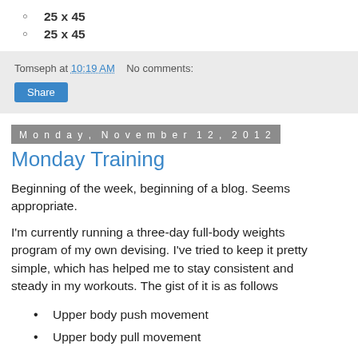25 x 45
25 x 45
Tomseph at 10:19 AM    No comments:
Share
Monday, November 12, 2012
Monday Training
Beginning of the week, beginning of a blog. Seems appropriate.
I'm currently running a three-day full-body weights program of my own devising. I've tried to keep it pretty simple, which has helped me to stay consistent and steady in my workouts. The gist of it is as follows
Upper body push movement
Upper body pull movement